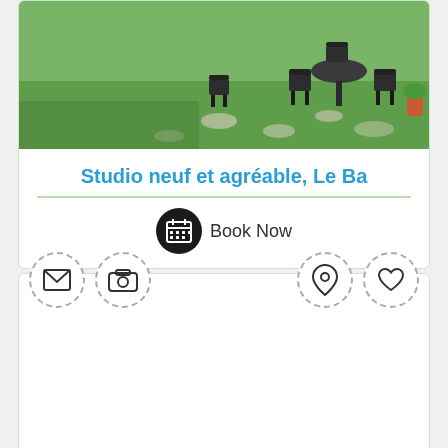[Figure (photo): Outdoor garden/patio area with metal chairs and tables on a grass lawn]
Studio neuf et agréable, Le Ba
[Figure (other): Book Now button with calendar icon]
[Figure (other): Second listing card with icon row (envelope, camera, location pin, heart icons) and empty photo area]
La Tourrette 10.8Km